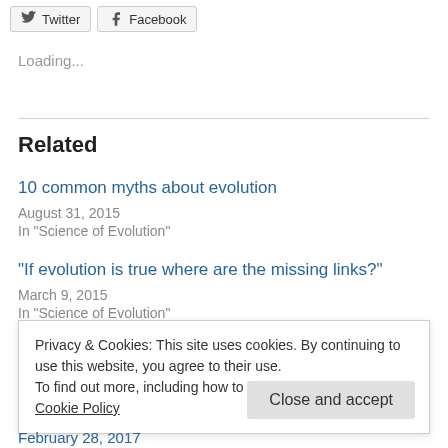[Figure (other): Twitter and Facebook share buttons at top of page]
Loading...
Related
10 common myths about evolution
August 31, 2015
In "Science of Evolution"
“If evolution is true where are the missing links?”
March 9, 2015
In "Science of Evolution"
Privacy & Cookies: This site uses cookies. By continuing to use this website, you agree to their use.
To find out more, including how to control cookies, see here: Cookie Policy
Close and accept
February 28, 2017